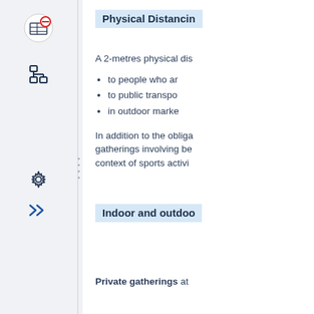Physical Distancing
A 2-metres physical dis
to people who ar
to public transpo
in outdoor marke
In addition to the obliga gatherings involving be context of sports activi
Indoor and outdoo
Private gatherings at